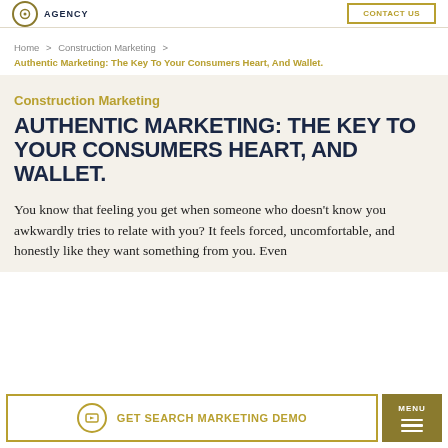AGENCY
Home > Construction Marketing > Authentic Marketing: The Key To Your Consumers Heart, And Wallet.
Construction Marketing
AUTHENTIC MARKETING: THE KEY TO YOUR CONSUMERS HEART, AND WALLET.
You know that feeling you get when someone who doesn't know you awkwardly tries to relate with you? It feels forced, uncomfortable, and honestly like they want something from you. Even
GET SEARCH MARKETING DEMO  MENU